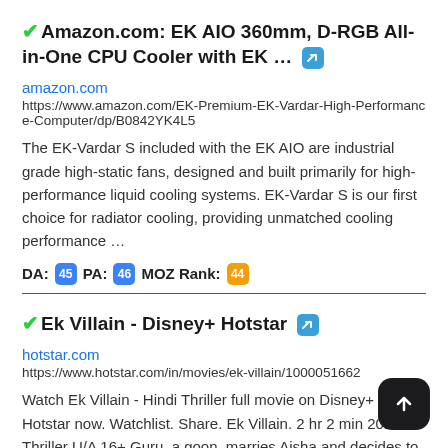✔Amazon.com: EK AIO 360mm, D-RGB All-in-One CPU Cooler with EK … 🔗
amazon.com
https://www.amazon.com/EK-Premium-EK-Vardar-High-Performance-Computer/dp/B0842YK4L5
The EK-Vardar S included with the EK AIO are industrial grade high-static fans, designed and built primarily for high-performance liquid cooling systems. EK-Vardar S is our first choice for radiator cooling, providing unmatched cooling performance …
DA: 45 PA: 46 MOZ Rank: 44
✔Ek Villain - Disney+ Hotstar 🔗
hotstar.com
https://www.hotstar.com/in/movies/ek-villain/1000051662
Watch Ek Villain - Hindi Thriller full movie on Disney+ Hotstar now. Watchlist. Share. Ek Villain. 2 hr 2 min 2014 Thriller U/A 16+ Guru, a goon, marries Aisha and decides to make a fresh start. However, their happiness is short lived when serial killer makes an entry. Guru, a goon, marries Aisha and decides to make a fresh start.